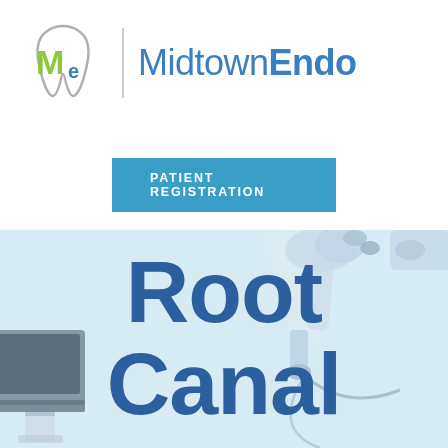[Figure (logo): MidtownEndo dental clinic logo with stylized tooth and M/e lettermark in green and blue, followed by text MidtownEndo]
PATIENT REGISTRATION
[Figure (photo): Background photo of dental/endodontic microscope equipment in a clinical setting, light blue tones]
Root Canal